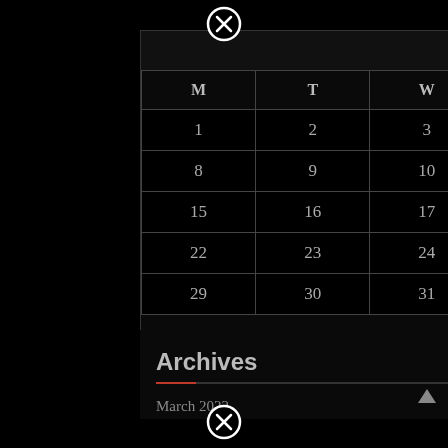[Figure (other): Close button (circled X) at top center of calendar widget]
August 2022
| M | T | W | T | F | S | S |
| --- | --- | --- | --- | --- | --- | --- |
| 1 | 2 | 3 | 4 | 5 | 6 | 7 |
| 8 | 9 | 10 | 11 | 12 | 13 | 14 |
| 15 | 16 | 17 | 18 | 19 | 20 | 21 |
| 22 | 23 | 24 | 25 | 26 | 27 | 28 |
| 29 | 30 | 31 |  |  |  |  |
« Mar
Archives
March 2022
[Figure (other): Close button (circled X) at bottom center]